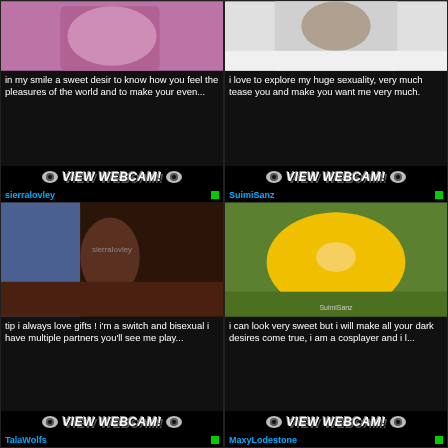[Figure (photo): Top-left webcam profile photo - woman in pink/purple setting]
in my smile a sweet desir to know how you feel the pleasures of the world and to make your even...
VIEW WEBCAM!
[Figure (photo): Top-right webcam profile photo - woman on white fur]
i love to explore my huge sexuality, very much tease you and make you want me very much.
VIEW WEBCAM!
sierralovley
[Figure (photo): sierralovley - woman on bed with dreadlocks wearing orange top]
tip i always love gifts ! i'm a switch and bisexual i have multiple partners you'll see me play...
VIEW WEBCAM!
SuimiSanz
[Figure (photo): SuimiSanz - woman in yellow Pikachu costume lying on grass with blue sunglasses]
i can look very sweet but i will make all your dark desires come true, i am a cosplayer and i l...
VIEW WEBCAM!
TalaWolfs
MaxyLodestone